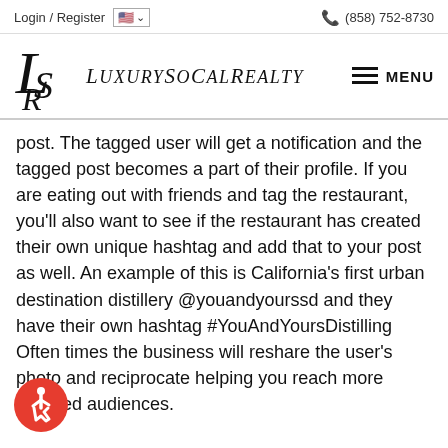Login / Register   🇺🇸 ∨   (858) 752-8730
[Figure (logo): LSR LuxurySoCalRealty logo with MENU button]
post.  The tagged user will get a notification and the tagged post becomes a part of their profile.  If you are eating out with friends and tag the restaurant, you'll also want to see if the restaurant has created their own unique hashtag and add that to your post as well.  An example of this is California's first urban destination distillery @youandyourssd and they have their own hashtag #YouAndYoursDistilling Often times the business will reshare the user's photo and reciprocate helping you reach more targeted audiences.
[Figure (illustration): Red circle accessibility icon with wheelchair user symbol]